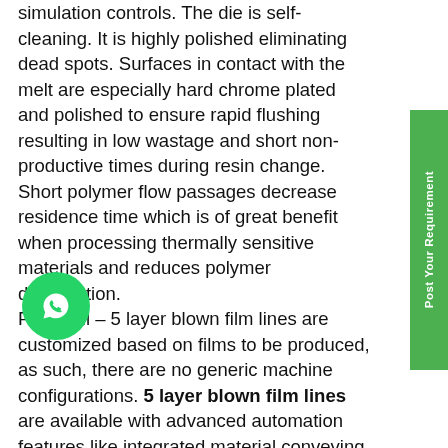simulation controls. The die is self-cleaning. It is highly polished eliminating dead spots. Surfaces in contact with the melt are especially hard chrome plated and polished to ensure rapid flushing resulting in low wastage and short non-productive times during resin change. Short polymer flow passages decrease residence time which is of great benefit when processing thermally sensitive materials and reduces polymer degradation. Pentafoil – 5 layer blown film lines are customized based on films to be produced, as such, there are no generic machine configurations. 5 layer blown film lines are available with advanced automation features like integrated material conveying, gsm control, gravimetric blending and dosing, non-contact type IBC system with digital correction, automatic thickness control (with non-contact capacitive sensor or gama backscatter nuclear gauge) and fully automatic center-gap-surface. Integrated touch screen based supervisory process control is provided thus rendering it operator friendly.
[Figure (other): WhatsApp contact button - green circle with WhatsApp phone icon]
Post Your Requirement